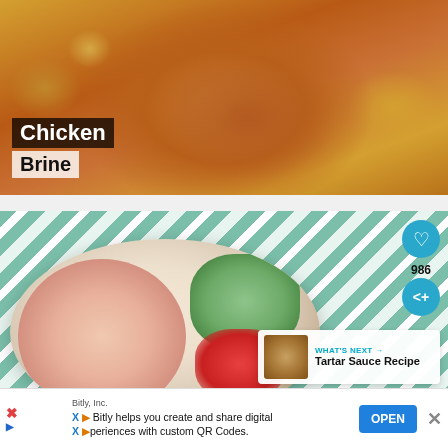[Figure (photo): Roasted whole chicken on a white platter with lemon slices and rosemary, golden-brown skin, viewed from above.]
Chicken Brine
[Figure (photo): Overhead view of a white bowl containing cooked shrimp, diced cucumber, diced tomatoes, and red onion on a green and white striped cloth background. Heart/like icon shows 986 saves. Share icon visible. 'What's Next' panel shows Tartar Sauce Recipe thumbnail.]
WHAT'S NEXT → Tartar Sauce Recipe
Bitly, Inc.
Bitly helps you create and share digital experiences with custom QR Codes.
OPEN